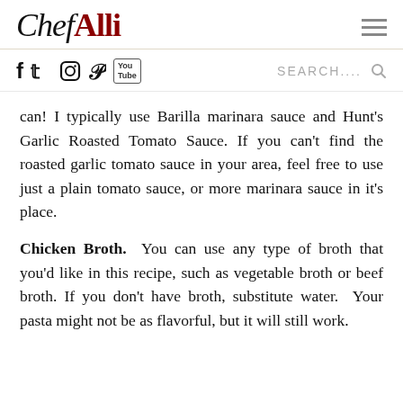ChefAlli
[Figure (other): Social media icons: Facebook, Twitter, Instagram, Pinterest, YouTube; plus Search bar]
can! I typically use Barilla marinara sauce and Hunt's Garlic Roasted Tomato Sauce. If you can't find the roasted garlic tomato sauce in your area, feel free to use just a plain tomato sauce, or more marinara sauce in it's place.
Chicken Broth. You can use any type of broth that you'd like in this recipe, such as vegetable broth or beef broth. If you don't have broth, substitute water. Your pasta might not be as flavorful, but it will still work.